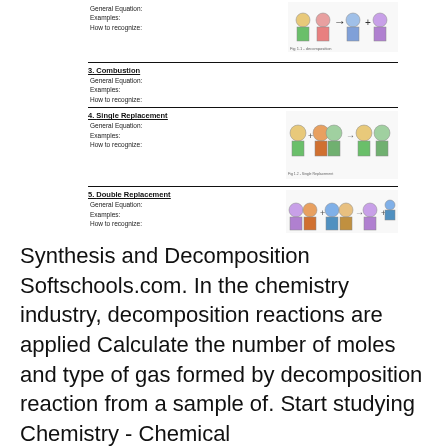3. Combustion
General Equation:
Examples:
How to recognize:
4. Single Replacement
General Equation:
Examples:
How to recognize:
5. Double Replacement
General Equation:
Examples:
How to recognize:
[Figure (illustration): Cartoon illustration of Single Replacement reaction with cartoon characters]
[Figure (illustration): Cartoon illustration of Double Replacement reaction with cartoon characters]
Synthesis and Decomposition Softschools.com. In the chemistry industry, decomposition reactions are applied Calculate the number of moles and type of gas formed by decomposition reaction from a sample of. Start studying Chemistry - Chemical